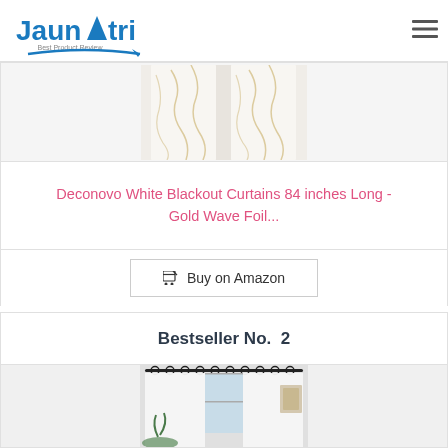Jaunatri Best Product Review
[Figure (photo): White curtain with gold wave foil print pattern, partially cropped at top]
Deconovo White Blackout Curtains 84 inches Long - Gold Wave Foil...
Buy on Amazon
Bestseller No. 2
[Figure (photo): White sheer curtains with grommet top on a black rod, hung in a room with a window and plant visible]